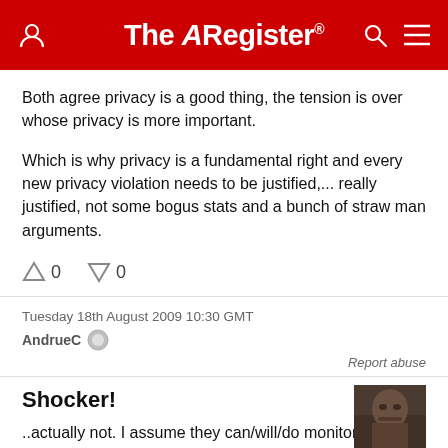The Register
Both agree privacy is a good thing, the tension is over whose privacy is more important.

Which is why privacy is a fundamental right and every new privacy violation needs to be justified,... really justified, not some bogus stats and a bunch of straw man arguments.
0  0
Tuesday 18th August 2009 10:30 GMT
AndrueC
Report abuse
Shocker!
..actually not. I assume they can/will/do monitor everything I do on work equipment. It's a bit safer than using an internet cafe or library but the main difference is